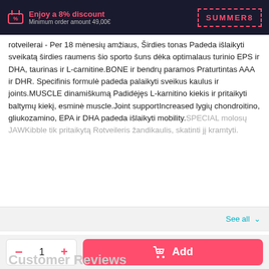Enjoy a 8% discount Minimum order amount 49,00€ | SUMMER8
rotveilerai - Per 18 mėnesių amžiaus, Širdies tonas Padeda išlaikyti sveikatą širdies raumens šio sporto šuns dėka optimalaus turinio EPS ir DHA, taurinas ir L-carnitine.BONE ir bendrų paramos Praturtintas AAA ir DHR. Specifinis formulė padeda palaikyti sveikus kaulus ir joints.MUSCLE dinamiškumą Padidėjęs L-karnitino kiekis ir pritaikyti baltymų kiekį, esminė muscle.Joint supportIncreased lygių chondroitino, gliukozamino, EPA ir DHA padeda išlaikyti mobility.SPECIAL molosų JAWKibble tik pritaikytą Rotveileris žandikaulis, skatinti jį kramtyti.
See all
Ingredients
Customer Reviews